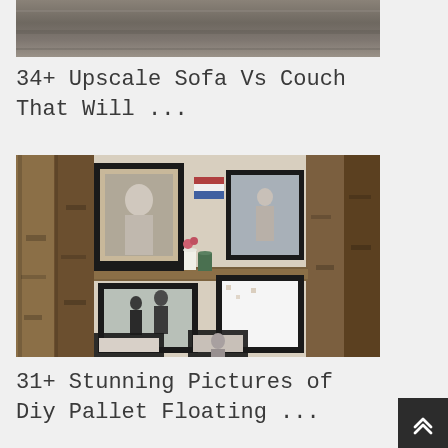[Figure (photo): Top portion of a photo showing what appears to be a sofa or couch with a wooden panel background in gray/brown tones.]
34+ Upscale Sofa Vs Couch That Will ...
[Figure (photo): A DIY pallet floating shelf/wall display with multiple framed photos in black frames mounted on rustic reclaimed wood pallet boards. Photos include black-and-white and color prints of people. A small white vase with pink flowers sits on a shelf.]
31+ Stunning Pictures of Diy Pallet Floating ...